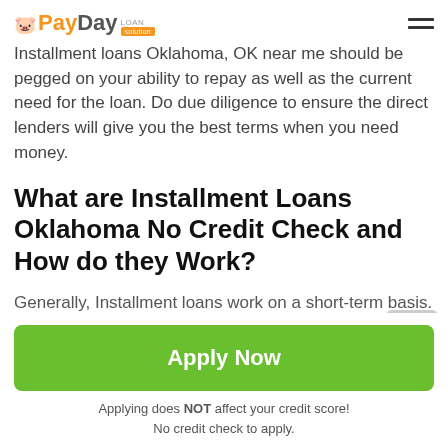PayDay Loan Solution
Installment loans Oklahoma, OK near me should be pegged on your ability to repay as well as the current need for the loan. Do due diligence to ensure the direct lenders will give you the best terms when you need money.
What are Installment Loans Oklahoma No Credit Check and How do they Work?
Generally, Installment loans work on a short-term basis. These are procured online or over-the-store loans given for a period of 14 days, 1 month and repaid using the next
Apply Now
Applying does NOT affect your credit score!
No credit check to apply.